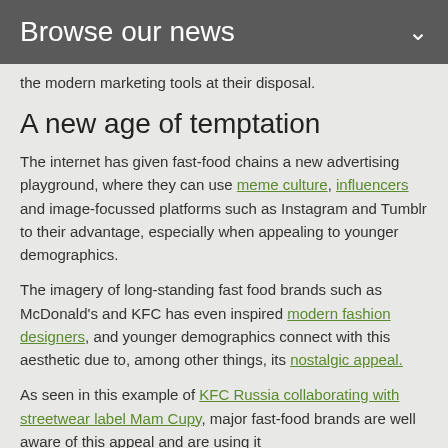Browse our news
the modern marketing tools at their disposal.
A new age of temptation
The internet has given fast-food chains a new advertising playground, where they can use meme culture, influencers and image-focussed platforms such as Instagram and Tumblr to their advantage, especially when appealing to younger demographics.
The imagery of long-standing fast food brands such as McDonald's and KFC has even inspired modern fashion designers, and younger demographics connect with this aesthetic due to, among other things, its nostalgic appeal.
As seen in this example of KFC Russia collaborating with streetwear label Mam Cupy, major fast-food brands are well aware of this appeal and are using it